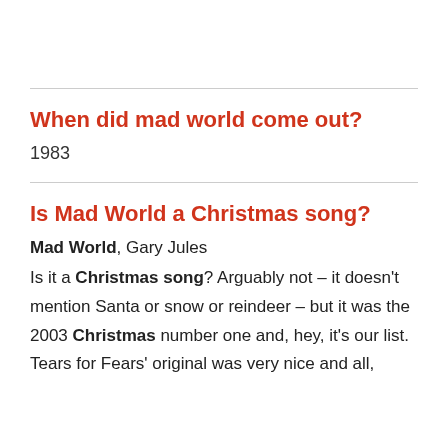When did mad world come out?
1983
Is Mad World a Christmas song?
Mad World, Gary Jules
Is it a Christmas song? Arguably not – it doesn't mention Santa or snow or reindeer – but it was the 2003 Christmas number one and, hey, it's our list. Tears for Fears' original was very nice and all,